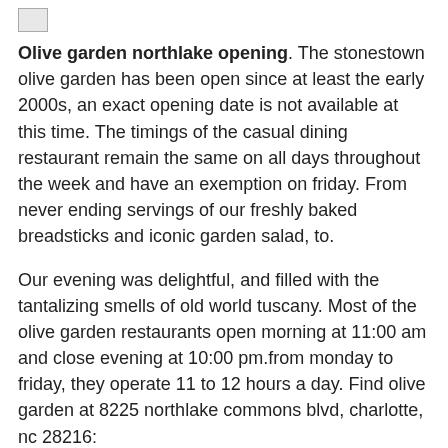[Figure (illustration): Small broken image icon placeholder in top-left corner]
Olive garden northlake opening. The stonestown olive garden has been open since at least the early 2000s, an exact opening date is not available at this time. The timings of the casual dining restaurant remain the same on all days throughout the week and have an exemption on friday. From never ending servings of our freshly baked breadsticks and iconic garden salad, to.
Our evening was delightful, and filled with the tantalizing smells of old world tuscany. Most of the olive garden restaurants open morning at 11:00 am and close evening at 10:00 pm.from monday to friday, they operate 11 to 12 hours a day. Find olive garden at 8225 northlake commons blvd, charlotte, nc 28216:
Olive garden italian restaurant, palm beach gardens: To start dining on classic italian recipes, visit our italian restaurant at